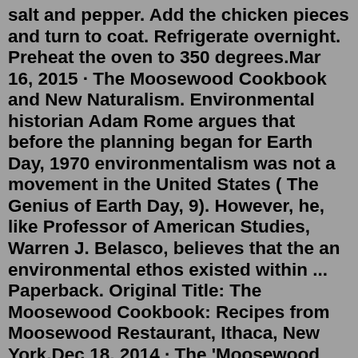salt and pepper. Add the chicken pieces and turn to coat. Refrigerate overnight. Preheat the oven to 350 degrees.Mar 16, 2015 · The Moosewood Cookbook and New Naturalism. Environmental historian Adam Rome argues that before the planning began for Earth Day, 1970 environmentalism was not a movement in the United States ( The Genius of Earth Day, 9). However, he, like Professor of American Studies, Warren J. Belasco, believes that the an environmental ethos existed within ... Paperback. Original Title: The Moosewood Cookbook: Recipes from Moosewood Restaurant, Ithaca, New York.Dec 18, 2014 · The 'Moosewood Cookbook' Revisited. By Alix Wall December 18, 2014. This is a sporadic column by Bay Area personal chef Alix Wall, in which she evaluates a cookbook by making some of its ... The Moosewood Cookbook has inspired generations to cook simple, healthy, and seasonal food.A classic listed as one of the top ten best-selling cookbooks of all time by the New York Times, this 40th anniversary edition of Mollie Katzen's seminal book will be a